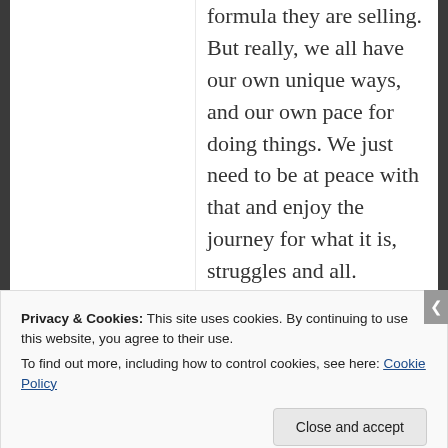formula they are selling. But really, we all have our own unique ways, and our own pace for doing things. We just need to be at peace with that and enjoy the journey for what it is, struggles and all.
★ Like
Privacy & Cookies: This site uses cookies. By continuing to use this website, you agree to their use.
To find out more, including how to control cookies, see here: Cookie Policy
Close and accept